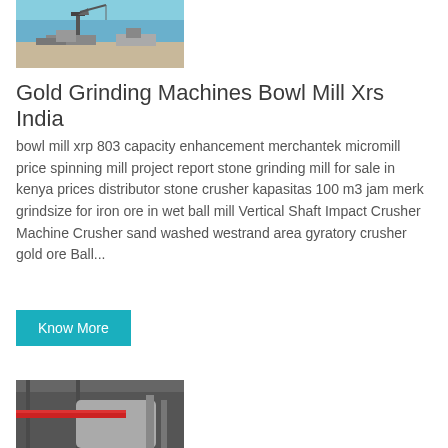[Figure (photo): Aerial or ground-level photo of industrial mining/construction equipment on a flat open site with blue sky]
Gold Grinding Machines Bowl Mill Xrs India
bowl mill xrp 803 capacity enhancement merchantek micromill price spinning mill project report stone grinding mill for sale in kenya prices distributor stone crusher kapasitas 100 m3 jam merk grindsize for iron ore in wet ball mill Vertical Shaft Impact Crusher Machine Crusher sand washed westrand area gyratory crusher gold ore Ball...
Know More
[Figure (photo): Photo of industrial mill or crusher machinery interior, showing large cylindrical equipment with red piping]